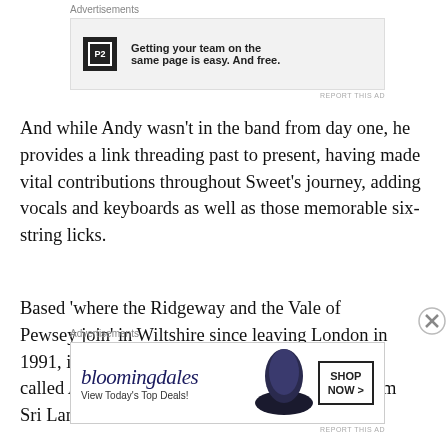[Figure (other): Advertisement banner for P2 with text: Getting your team on the same page is easy. And free.]
And while Andy wasn't in the band from day one, he provides a link threading past to present, having made vital contributions throughout Sweet's journey, adding vocals and keyboards as well as those memorable six-string licks.
Based 'where the Ridgeway and the Vale of Pewsey join' in Wiltshire since leaving London in 1991, it was 'absolutely hacking it down' when I called Andy, his hopes of catching the cricket from Sri Lanka on the box...
[Figure (other): Advertisement banner for Bloomingdale's: View Today's Top Deals! SHOP NOW >]